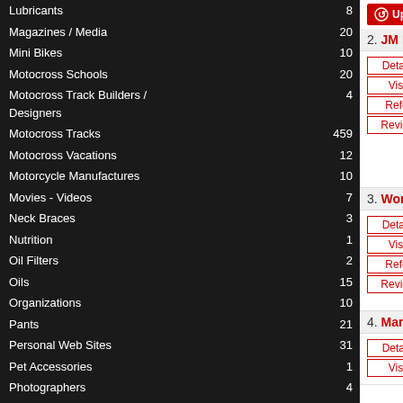Lubricants 8
Magazines / Media 20
Mini Bikes 10
Motocross Schools 20
Motocross Track Builders / Designers 4
Motocross Tracks 459
Motocross Vacations 12
Motorcycle Manufactures 10
Movies - Videos 7
Neck Braces 3
Nutrition 1
Oil Filters 2
Oils 15
Organizations 10
Pants 21
Personal Web Sites 31
Pet Accessories 1
Photographers 4
Pistons 5
Pit Bikes 10
Pit Boards 2
Plastic 4
Polaris OEM Parts
Powder Coating 1
RVs and Custom Rigs 2
Race Teams 29
Radiator Guards 1
Radiators 4
Ramps 5
2. JM RACING
JM Racing
Category: Engine and Motor Services Suspension Retailers & Vendors
Date Added: Jun 14, 2007
3. Works Performance
Works Performance Products - #1 in Repl
Category: Suspension
Date Added: Jun 19, 2007
4. Marzocchi Group
Marzocchi
Category: Suspension